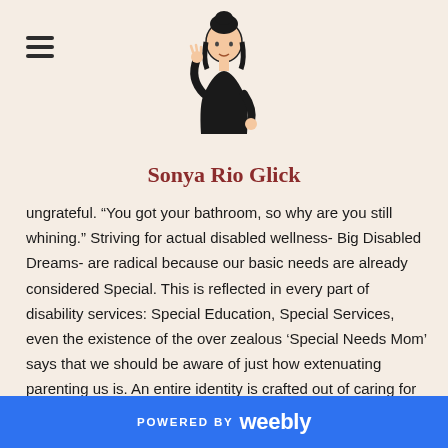[Figure (illustration): Line drawing illustration of a woman with dark hair in a bun, wearing a black top, with one hand raised]
Sonya Rio Glick
ungrateful. “You got your bathroom, so why are you still whining.” Striving for actual disabled wellness- Big Disabled Dreams- are radical because our basic needs are already considered Special. This is reflected in every part of disability services: Special Education, Special Services, even the existence of the over zealous ‘Special Needs Mom’ says that we should be aware of just how extenuating parenting us is. An entire identity is crafted out of caring for our many special, special needs. God forbid we ever forget we are burdensome to our families. Well, ‘we’ is figurative here- my parents knew better than
POWERED BY weebly